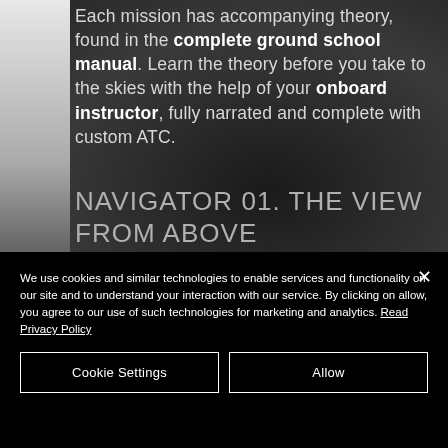[Figure (screenshot): Dark aerial landscape photograph used as background, with a light grey/white left panel strip]
Each mission has accompanying theory, found in the complete ground school manual. Learn the theory before you take to the skies with the help of your onboard instructor, fully narrated and complete with custom ATC.
NAVIGATOR 01. THE VIEW FROM ABOVE
We use cookies and similar technologies to enable services and functionality on our site and to understand your interaction with our service. By clicking on allow, you agree to our use of such technologies for marketing and analytics. Read Privacy Policy